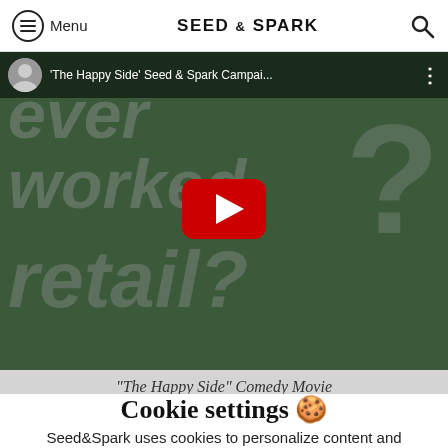Menu | SEED & SPARK
[Figure (screenshot): YouTube video embed on Seed & Spark website showing a dark green background with large faded text reading 'ever worked retail?' and a red YouTube play button in the center. Video title: 'The Happy Side' Seed & Spark Campai...]
"The Happy Side" Comedy Movie
Cookie settings 🍪
Seed&Spark uses cookies to personalize content and